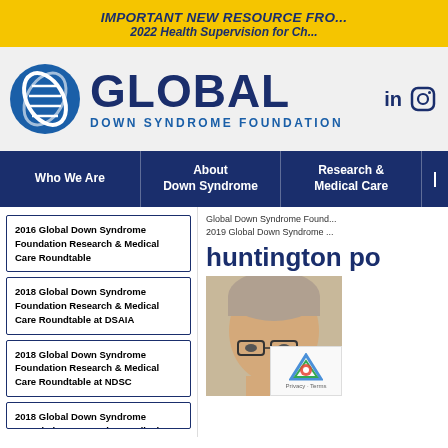IMPORTANT NEW RESOURCE FROM... 2022 Health Supervision for Ch...
[Figure (logo): Global Down Syndrome Foundation logo with DNA helix circle icon]
in (Instagram icon)
Who We Are | About Down Syndrome | Research & Medical Care
2016 Global Down Syndrome Foundation Research & Medical Care Roundtable
2018 Global Down Syndrome Foundation Research & Medical Care Roundtable at DSAIA
2018 Global Down Syndrome Foundation Research & Medical Care Roundtable at NDSC
2018 Global Down Syndrome Foundation Research & Medical...
Global Down Syndrome Found... 2019 Global Down Syndrome ...
huntington po
[Figure (photo): Photo of a person with glasses, partial face visible, with reCAPTCHA overlay]